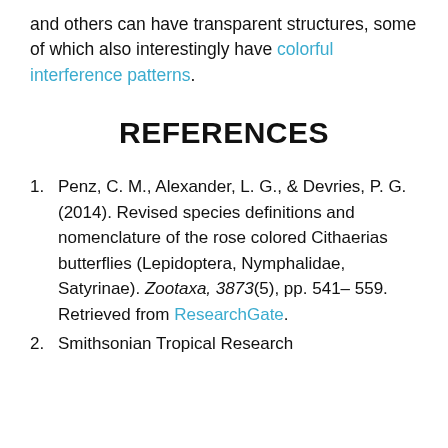and others can have transparent structures, some of which also interestingly have colorful interference patterns.
REFERENCES
1. Penz, C. M., Alexander, L. G., & Devries, P. G. (2014). Revised species definitions and nomenclature of the rose colored Cithaerias butterflies (Lepidoptera, Nymphalidae, Satyrinae). Zootaxa, 3873(5), pp. 541–559. Retrieved from ResearchGate.
2. Smithsonian Tropical Research